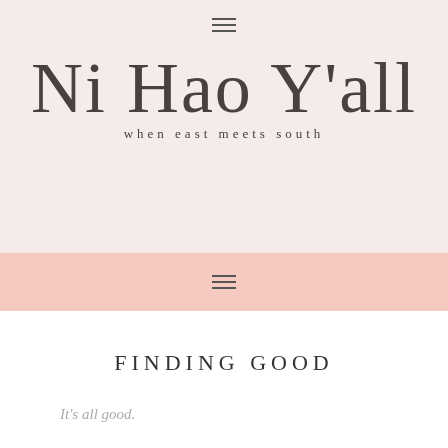[Figure (logo): Blog logo with script text 'Ni Hao Y'all' and tagline 'when east meets south' on a light pinkish-beige background with hamburger menu icon at top]
≡
Ni Hao Y'all
when east meets south
≡
FINDING GOOD
It's all good.